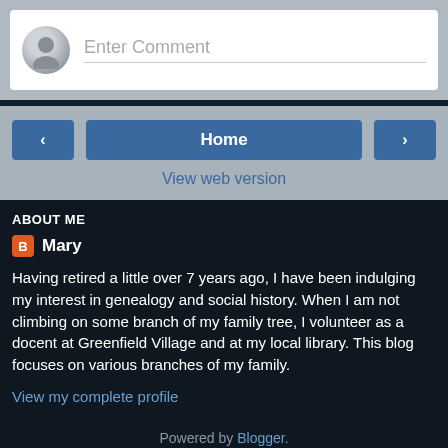[Figure (screenshot): Comment input box with user avatar and placeholder text 'Enter Comment']
[Figure (screenshot): Navigation bar with left arrow, Home button, and right arrow buttons]
View web version
ABOUT ME
Mary
Having retired a little over 7 years ago, I have been indulging my interest in genealogy and social history. When I am not climbing on some branch of my family tree, I volunteer as a docent at Greenfield Village and at my local library. This blog focuses on various branches of my family.
View my complete profile
Powered by Blogger.